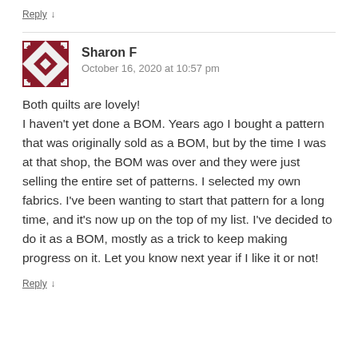Reply ↓
[Figure (illustration): Quilt pattern avatar icon in dark red/maroon with geometric square pattern]
Sharon F
October 16, 2020 at 10:57 pm
Both quilts are lovely!
I haven't yet done a BOM. Years ago I bought a pattern that was originally sold as a BOM, but by the time I was at that shop, the BOM was over and they were just selling the entire set of patterns. I selected my own fabrics. I've been wanting to start that pattern for a long time, and it's now up on the top of my list. I've decided to do it as a BOM, mostly as a trick to keep making progress on it. Let you know next year if I like it or not!
Reply ↓